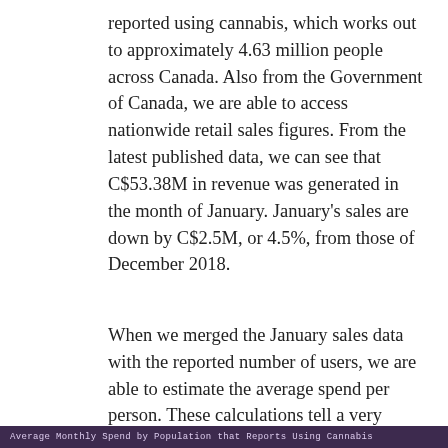reported using cannabis, which works out to approximately 4.63 million people across Canada. Also from the Government of Canada, we are able to access nationwide retail sales figures. From the latest published data, we can see that C$53.38M in revenue was generated in the month of January. January's sales are down by C$2.5M, or 4.5%, from those of December 2018.
When we merged the January sales data with the reported number of users, we are able to estimate the average spend per person. These calculations tell a very interesting story about the usage in each province, and have implications for the development of the legal market across the country.
Average Monthly Spend by Population that Reports Using Cannabis